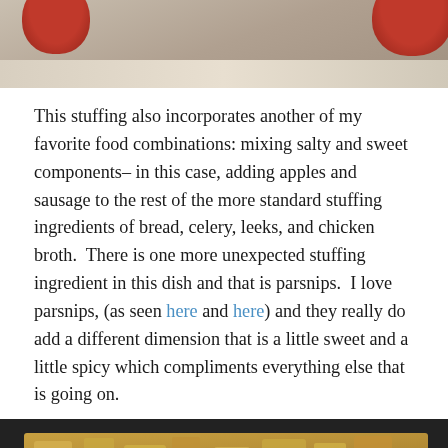[Figure (photo): Top portion of a food photo showing what appear to be red apples on a light surface]
This stuffing also incorporates another of my favorite food combinations: mixing salty and sweet components– in this case, adding apples and sausage to the rest of the more standard stuffing ingredients of bread, celery, leeks, and chicken broth.  There is one more unexpected stuffing ingredient in this dish and that is parsnips.  I love parsnips, (as seen here and here) and they really do add a different dimension that is a little sweet and a little spicy which compliments everything else that is going on.
[Figure (photo): A dark baking pan filled with stuffing made of bread cubes, sausage, and vegetables]
Follow ...